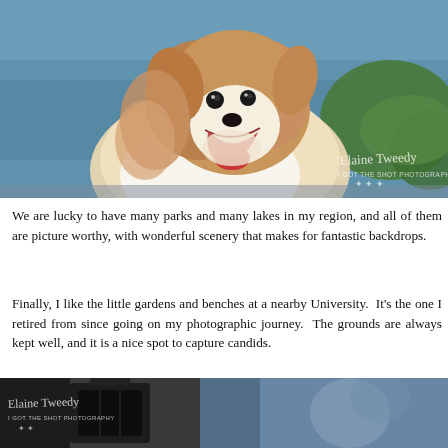[Figure (photo): Close-up photo of a fluffy Pomeranian or Papillon dog with mouth open and tongue out, in front of a blue lake background with green grass. Watermark reads 'Elaine Tweedy / I GOT THE SHOT PHOTOGRAPHY' in lower right corner.]
We are lucky to have many parks and many lakes in my region, and all of them are picture worthy, with wonderful scenery that makes for fantastic backdrops.
Finally, I like the little gardens and benches at a nearby University. It's the one I retired from since going on my photographic journey. The grounds are always kept well, and it is a nice spot to capture candids.
[Figure (photo): Partially visible photo at bottom of page showing a dark lantern or camera equipment with a blue background, with watermark 'Elaine Tweedy / I GOT THE SHOT PHOTOGRAPHY'.]